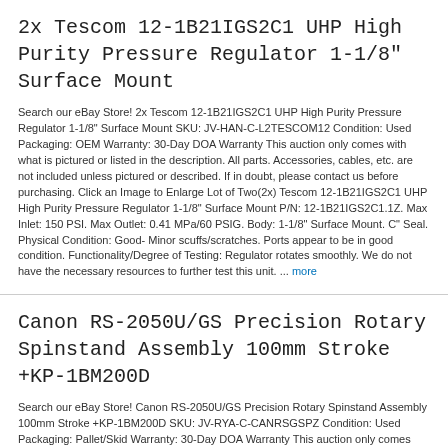2x Tescom 12-1B21IGS2C1 UHP High Purity Pressure Regulator 1-1/8" Surface Mount
Search our eBay Store! 2x Tescom 12-1B21IGS2C1 UHP High Purity Pressure Regulator 1-1/8" Surface Mount SKU: JV-HAN-C-L2TESCOM12 Condition: Used Packaging: OEM Warranty: 30-Day DOA Warranty This auction only comes with what is pictured or listed in the description. All parts. Accessories, cables, etc. are not included unless pictured or described. If in doubt, please contact us before purchasing. Click an Image to Enlarge Lot of Two(2x) Tescom 12-1B21IGS2C1 UHP High Purity Pressure Regulator 1-1/8" Surface Mount P/N: 12-1B21IGS2C1.1Z. Max Inlet: 150 PSI. Max Outlet: 0.41 MPa/60 PSIG. Body: 1-1/8" Surface Mount. C" Seal. Physical Condition: Good- Minor scuffs/scratches. Ports appear to be in good condition. Functionality/Degree of Testing: Regulator rotates smoothly. We do not have the necessary resources to further test this unit. ... more
Canon RS-2050U/GS Precision Rotary Spinstand Assembly 100mm Stroke +KP-1BM200D
Search our eBay Store! Canon RS-2050U/GS Precision Rotary Spinstand Assembly 100mm Stroke +KP-1BM200D SKU: JV-RYA-C-CANRSGSPZ Condition: Used Packaging: Pallet/Skid Warranty: 30-Day DOA Warranty This auction only comes with what is pictured or listed in the description. All parts. Accessories, cables, etc. are not included